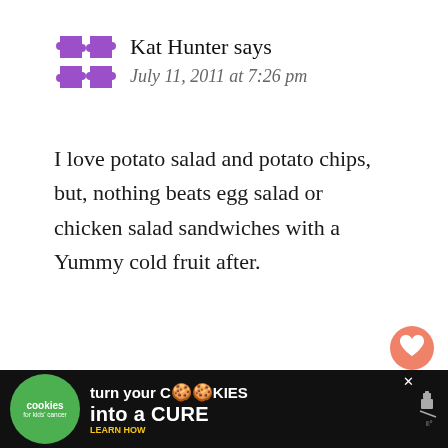[Figure (logo): Purple puzzle-piece style avatar icon for user Kat Hunter]
Kat Hunter says
July 11, 2011 at 7:26 pm
I love potato salad and potato chips, but, nothing beats egg salad or chicken salad sandwiches with a Yummy cold fruit after.
Reply
[Figure (illustration): Heart icon button (salmon/orange circle with white heart)]
[Figure (illustration): Share icon button (white circle with share icon)]
[Figure (photo): What's Next panel with thumbnail photo and text: Team Rice Krispies...]
[Figure (illustration): Partial avatar visible at bottom for next commenter]
[Figure (infographic): Ad banner: cookies for kids cancer - turn your cookies into a cure - learn how]